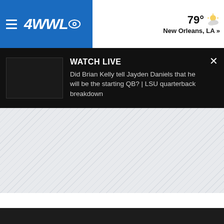4WWLO — 79° New Orleans, LA »
WATCH LIVE
Did Brian Kelly tell Jayden Daniels that he will be the starting QB? | LSU quarterback breakdown
[Figure (screenshot): Hatched/striped placeholder area for an advertisement or content loading zone]
[Figure (screenshot): Dark background area at the bottom of the page]